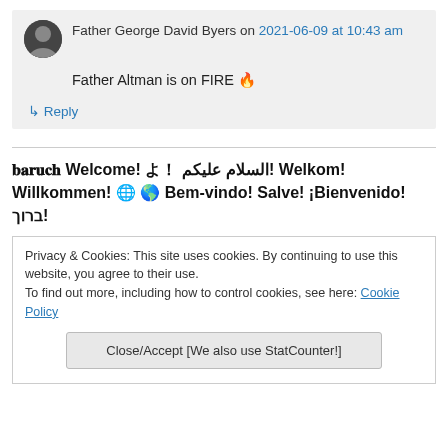Father George David Byers on 2021-06-09 at 10:43 am
Father Altman is on FIRE 🔥
↳ Reply
𝐛𝐚𝐫𝐮𝐜𝐡! Welcome! ようこそ! ! السلام عليكم! Welkom! Willkommen! 🇩🇪 🇧🇷 Bem-vindo! Salve! ¡Bienvenido! ברוך!
Privacy & Cookies: This site uses cookies. By continuing to use this website, you agree to their use.
To find out more, including how to control cookies, see here: Cookie Policy
Close/Accept [We also use StatCounter!]